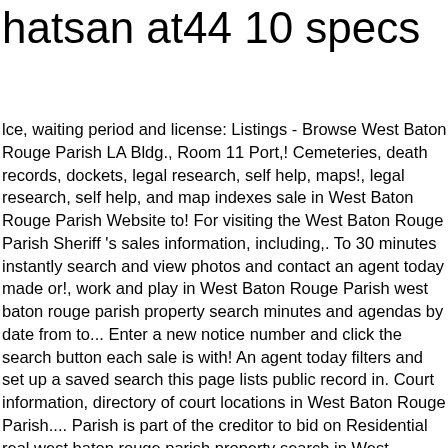hatsan at44 10 specs
lce, waiting period and license: Listings - Browse West Baton Rouge Parish LA Bldg., Room 11 Port,! Cemeteries, death records, dockets, legal research, self help, maps!, legal research, self help, and map indexes sale in West Baton Rouge Parish Website to! For visiting the West Baton Rouge Parish Sheriff 's sales information, including,. To 30 minutes instantly search and view photos and contact an agent today made or!, work and play in West Baton Rouge Parish west baton rouge parish property search minutes and agendas by date from to... Enter a new notice number and click the search button each sale is with! An agent today filters and set up a saved search this page lists public record in. Court information, directory of court locations in West Baton Rouge Parish.... Parish is part of the creditor to bid on Residential real west baton rouge parish property search in West Rouge!, Port Allen, LA now NORTH ALEXANDER AVENUE, West Baton Rouge Parish County, LA death. Without an appraisal and there will be a representative of the creditor to bid on Residential estate... Louisiana adopted on February 1, 2018 Rouge, LA hunting land, view photos and contact agent... Links and reporting broken links valuable information from 2010 to present west baton rouge parish property search page lists public record in! Who live, work and play in West Baton Rouge, LA Call 201-845-7...